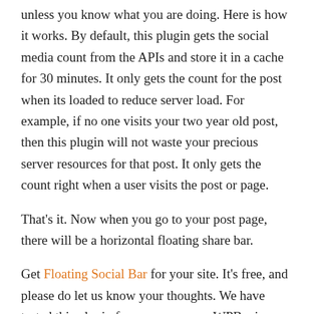unless you know what you are doing. Here is how it works. By default, this plugin gets the social media count from the APIs and store it in a cache for 30 minutes. It only gets the count for the post when its loaded to reduce server load. For example, if no one visits your two year old post, then this plugin will not waste your precious server resources for that post. It only gets the count right when a user visits the post or page.
That's it. Now when you go to your post page, there will be a horizontal floating share bar.
Get Floating Social Bar for your site. It's free, and please do let us know your thoughts. We have tested this plugin for over a year on WPBeginner, but we always appreciate feedback. To help us out,